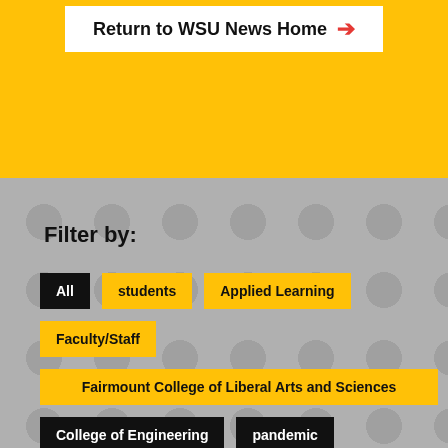Return to WSU News Home →
Filter by:
All
students
Applied Learning
Faculty/Staff
Fairmount College of Liberal Arts and Sciences
College of Engineering
pandemic
Alumni
community
COVID-19